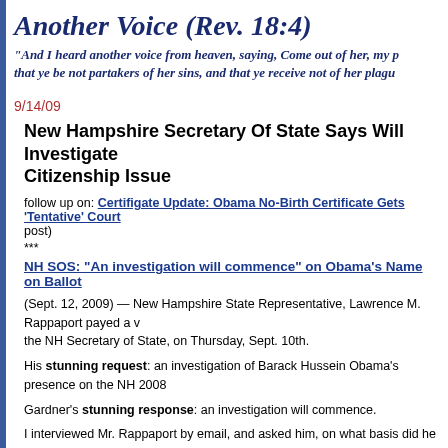Another Voice (Rev. 18:4)
"And I heard another voice from heaven, saying, Come out of her, my p... that ye be not partakers of her sins, and that ye receive not of her plagu...
9/14/09
New Hampshire Secretary Of State Says Will Investigate Citizenship Issue
follow up on: Certifigate Update: Obama No-Birth Certificate Gets 'Tentative' Court... post)
***
NH SOS: “An investigation will commence” on Obama’s Name on Ballot
(Sept. 12, 2009) — New Hampshire State Representative, Lawrence M. Rappaport payed a v... the NH Secretary of State, on Thursday, Sept. 10th.
His stunning request: an investigation of Barack Hussein Obama’s presence on the NH 2008...
Gardner’s stunning response: an investigation will commence.
I interviewed Mr. Rappaport by email, and asked him, on what basis did he make his complai... for all of this is possible fraud. I don’t know what penalties will be assessed if fraud is prove...